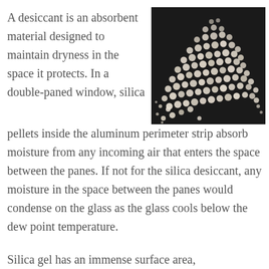A desiccant is an absorbent material designed to maintain dryness in the space it protects. In a double-paned window, silica pellets inside the aluminum perimeter strip absorb moisture from any incoming air that enters the space between the panes. If not for the silica desiccant, any moisture in the space between the panes would condense on the glass as the glass cools below the dew point temperature.
[Figure (photo): A photograph of small white/cream-colored silica gel beads/pellets piled on a dark black background.]
Silica gel has an immense surface area, approximately 7,200 square feet per gram,